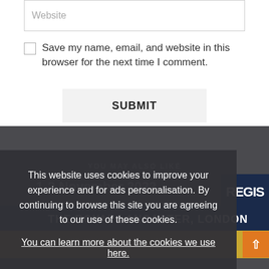Website
Save my name, email, and website in this browser for the next time I comment.
SUBMIT
This website uses cookies to improve your experience and for ads personalisation. By continuing to browse this site you are agreeing to our use of these cookies. You can learn more about the cookies we use here.
OK
YOU MAY ALSO LIKE
1-2 November 2022
THE ROYAL LANCASTER, LONDON
REGIS